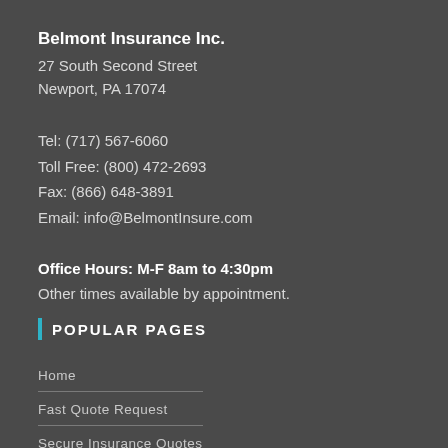Belmont Insurance Inc.
27 South Second Street
Newport, PA 17074
Tel: (717) 567-6060
Toll Free: (800) 472-2693
Fax: (866) 648-3891
Email: info@BelmontInsure.com
Office Hours: M-F 8am to 4:30pm
Other times available by appointment.
POPULAR PAGES
Home
Fast Quote Request
Secure Insurance Quotes